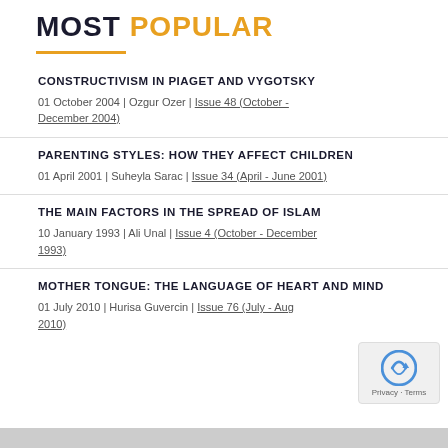MOST POPULAR
CONSTRUCTIVISM IN PIAGET AND VYGOTSKY
01 October 2004 | Ozgur Ozer | Issue 48 (October - December 2004)
PARENTING STYLES: HOW THEY AFFECT CHILDREN
01 April 2001 | Suheyla Sarac | Issue 34 (April - June 2001)
THE MAIN FACTORS IN THE SPREAD OF ISLAM
10 January 1993 | Ali Unal | Issue 4 (October - December 1993)
MOTHER TONGUE: THE LANGUAGE OF HEART AND MIND
01 July 2010 | Hurisa Guvercin | Issue 76 (July - Aug 2010)